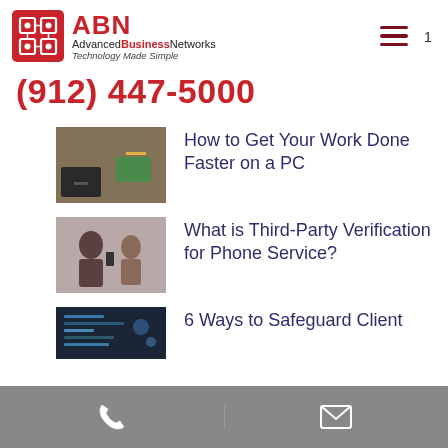ABN Advanced Business Networks – Technology Made Simple | (912) 447-5000
(912) 447-5000
How to Get Your Work Done Faster on a PC
What is Third-Party Verification for Phone Service?
6 Ways to Safeguard Client Information...